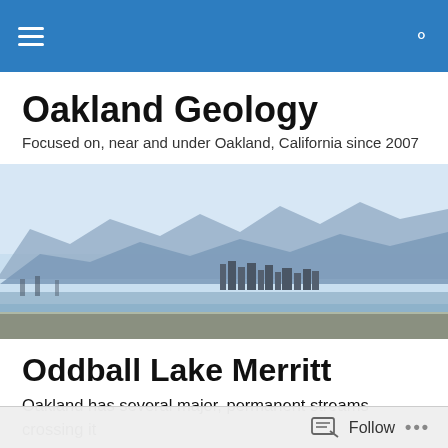Oakland Geology — navigation bar with menu and search
Oakland Geology
Focused on, near and under Oakland, California since 2007
[Figure (photo): Panoramic photograph of the San Francisco Bay Area skyline with hills and mountains in the background, flat waterfront in the foreground]
Oddball Lake Merritt
Oakland has several major, permanent streams crossing it